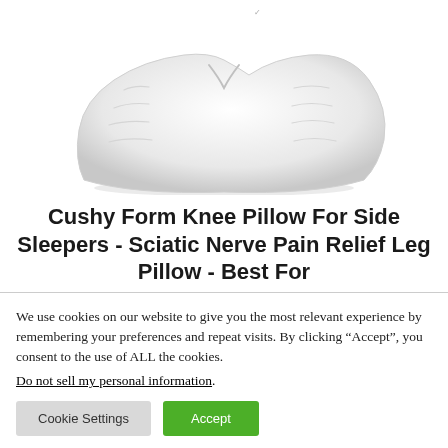[Figure (photo): White knee pillow product photo on white background, showing a contoured ergonomic pillow shape]
Cushy Form Knee Pillow For Side Sleepers - Sciatic Nerve Pain Relief Leg Pillow - Best For
We use cookies on our website to give you the most relevant experience by remembering your preferences and repeat visits. By clicking “Accept”, you consent to the use of ALL the cookies.
Do not sell my personal information.
Cookie Settings  Accept